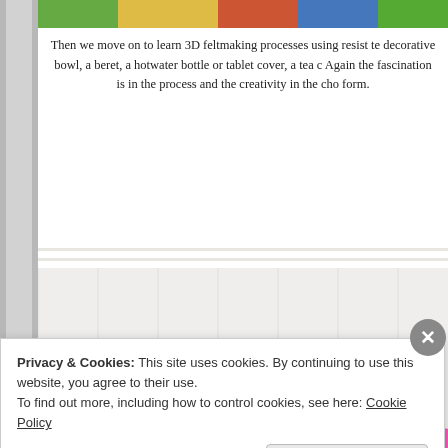[Figure (photo): Colorful felted items including bowls, bags, and decorative objects arranged together against a white wall background.]
Then we move on to learn 3D feltmaking processes using resist te... decorative bowl, a beret, a hotwater bottle or tablet cover, a tea c... Again the fascination is in the process and the creativity in the cho... form.
[Figure (photo): A collection of 3D felted objects including large round bags in teal and pink, small bowls in green and gray, and heart-shaped decorative pieces arranged on a colorful fabric surface.]
Privacy & Cookies: This site uses cookies. By continuing to use this website, you agree to their use.
To find out more, including how to control cookies, see here: Cookie Policy
Close and accept